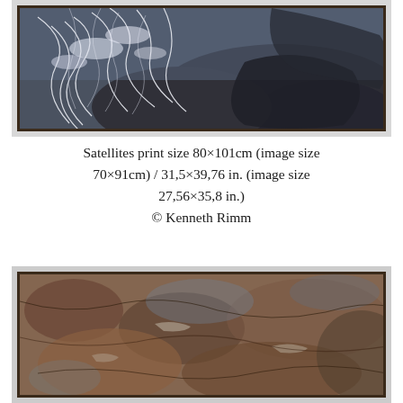[Figure (photo): Framed aerial photograph showing blue-grey rocky terrain with white vein-like patterns, resembling ocean waves or cracked ice viewed from above. Dark brown frame with white mat.]
Satellites print size 80×101cm (image size 70×91cm) / 31,5×39,76 in. (image size 27,56×35,8 in.)
© Kenneth Rimm
[Figure (photo): Framed aerial photograph showing brownish-red and grey rocky terrain with varied earth tones and textures. Dark brown frame with white mat.]